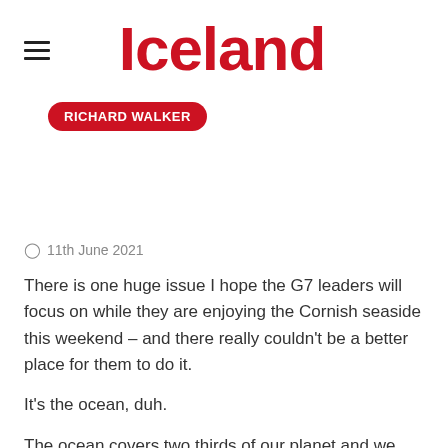Iceland
RICHARD WALKER
11th June 2021
There is one huge issue I hope the G7 leaders will focus on while they are enjoying the Cornish seaside this weekend – and there really couldn't be a better place for them to do it.
It's the ocean, duh.
The ocean covers two thirds of our planet and we are far